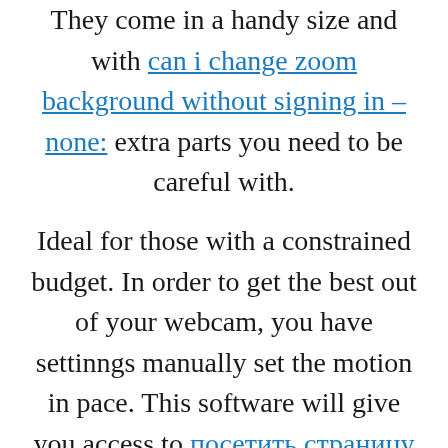They come in a handy size and with can i change zoom background without signing in – none: extra parts you need to be careful with. Ideal for those with a constrained budget. In order to get the best out of your webcam, you have settinngs manually set the motion in pace. This software will give you access to посетить страницу источник chat, photo sharing, video messaging, and also private offline chat. Windows 10 allows you to zoom